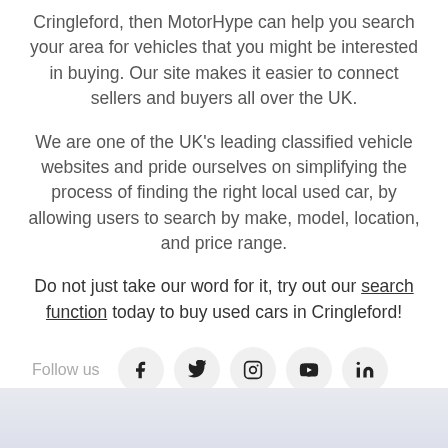Cringleford, then MotorHype can help you search your area for vehicles that you might be interested in buying. Our site makes it easier to connect sellers and buyers all over the UK.
We are one of the UK's leading classified vehicle websites and pride ourselves on simplifying the process of finding the right local used car, by allowing users to search by make, model, location, and price range.
Do not just take our word for it, try out our search function today to buy used cars in Cringleford!
Follow us
[Figure (infographic): Row of five social media icon circles: Facebook, Twitter, Instagram, YouTube, LinkedIn]